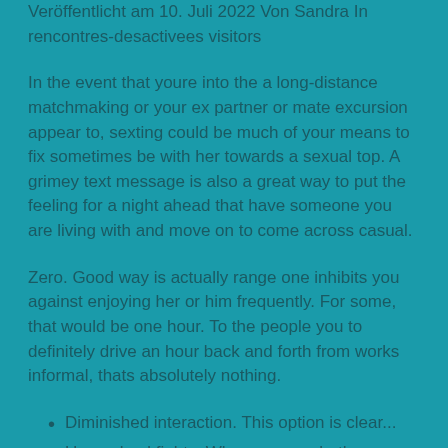Veröffentlicht am 10. Juli 2022 Von Sandra In rencontres-desactivees visitors
In the event that youre into the a long-distance matchmaking or your ex partner or mate excursion appear to, sexting could be much of your means to fix sometimes be with her towards a sexual top. A grimey text message is also a great way to put the feeling for a night ahead that have someone you are living with and move on to come across casual.
Zero. Good way is actually range one inhibits you against enjoying her or him frequently. For some, that would be one hour. To the people you to definitely drive an hour back and forth from works informal, thats absolutely nothing.
Diminished interaction. This option is clear...
Unresolved fights. When you see both